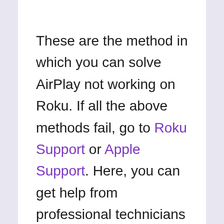These are the method in which you can solve AirPlay not working on Roku. If all the above methods fail, go to Roku Support or Apple Support. Here, you can get help from professional technicians who solve these kinds of problems daily.